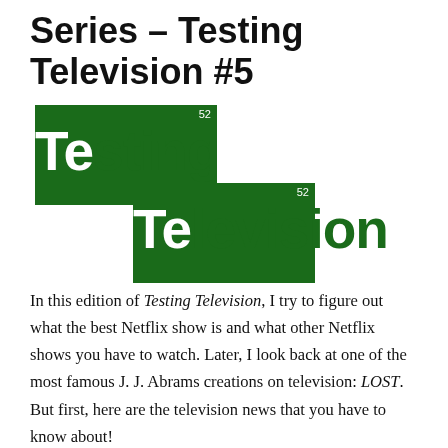Series – Testing Television #5
[Figure (logo): Testing Television logo styled like Breaking Bad periodic table element tiles. Two overlapping dark green squares each containing '52'. Top square overlaps with bold white 'Te' letters; the full word 'Testing' extends in dark green. Bottom square overlaps with bold white 'Te' letters; the full word 'Television' extends in dark green.]
In this edition of Testing Television, I try to figure out what the best Netflix show is and what other Netflix shows you have to watch. Later, I look back at one of the most famous J. J. Abrams creations on television: LOST. But first, here are the television news that you have to know about!